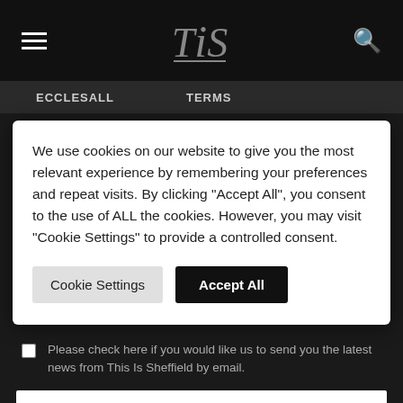TIS — This Is Sheffield navigation header with hamburger menu and search icon
ECCLESALL   TERMS
We use cookies on our website to give you the most relevant experience by remembering your preferences and repeat visits. By clicking "Accept All", you consent to the use of ALL the cookies. However, you may visit "Cookie Settings" to provide a controlled consent.
Cookie Settings | Accept All
Please check here if you would like us to send you the latest news from This Is Sheffield by email.
SUBSCRIBE